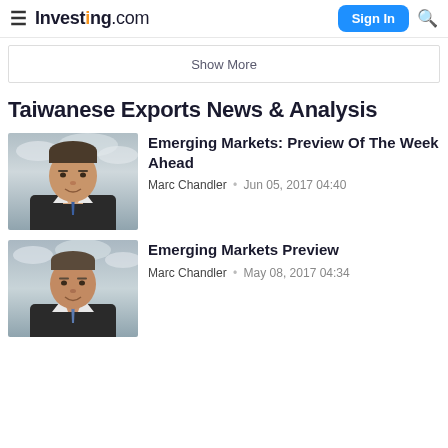Investing.com
Show More
Taiwanese Exports News & Analysis
[Figure (photo): Portrait photo of Marc Chandler, a middle-aged man in a dark suit with a blue tie, against a cloudy sky background.]
Emerging Markets: Preview Of The Week Ahead
Marc Chandler · Jun 05, 2017 04:40
[Figure (photo): Portrait photo of Marc Chandler, same person, against a cloudy sky background, smiling.]
Emerging Markets Preview
Marc Chandler · May 08, 2017 04:34